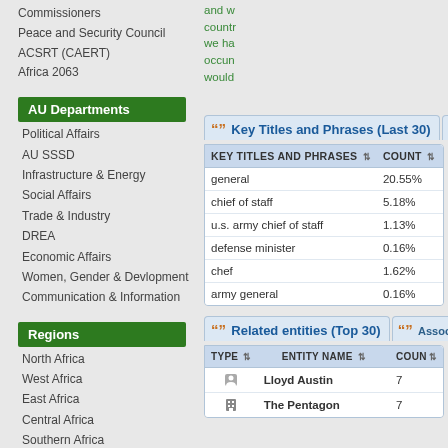Commissioners
Peace and Security Council
ACSRT (CAERT)
Africa 2063
AU Departments
Political Affairs
AU SSSD
Infrastructure & Energy
Social Affairs
Trade & Industry
DREA
Economic Affairs
Women, Gender & Devlopment
Communication & Information
Regions
North Africa
West Africa
East Africa
Central Africa
Southern Africa
RECs Focus
and w... countr... we ha... occun... would...
| Key Titles and Phrases | Count | Lang |
| --- | --- | --- |
| general | 20.55% | EN |
| chief of staff | 5.18% | EN |
| u.s. army chief of staff | 1.13% | EN |
| defense minister | 0.16% | EN |
| chef | 1.62% | FR |
| army general | 0.16% | EN |
| Type | Entity Name | Count |
| --- | --- | --- |
| [person] | Lloyd Austin | 7 |
| [building] | The Pentagon | 7 |